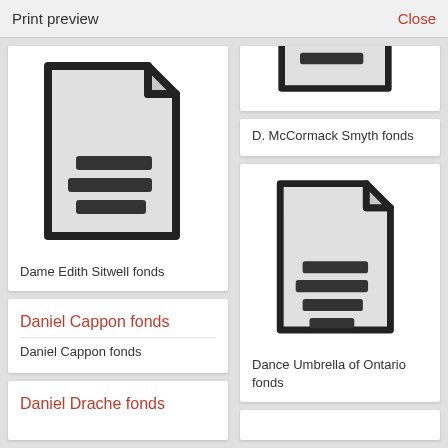Print preview   Close
[Figure (illustration): Document/file icon - gray page with folded corner and horizontal lines representing text]
Dame Edith Sitwell fonds
Daniel Cappon fonds
Daniel Cappon fonds
Daniel Drache fonds
[Figure (illustration): Partial document/file icon at top-right - cropped]
D. McCormack Smyth fonds
[Figure (illustration): Document/file icon - gray page with folded corner and horizontal lines representing text]
Dance Umbrella of Ontario fonds